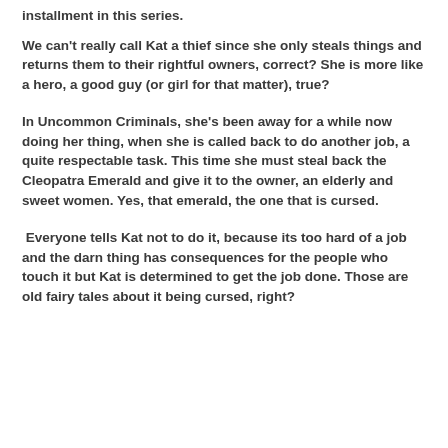installment in this series.
We can't really call Kat a thief since she only steals things and returns them to their rightful owners, correct? She is more like a hero, a good guy (or girl for that matter), true?
In Uncommon Criminals, she's been away for a while now doing her thing, when she is called back to do another job, a quite respectable task. This time she must steal back the Cleopatra Emerald and give it to the owner, an elderly and sweet women. Yes, that emerald, the one that is cursed.
Everyone tells Kat not to do it, because its too hard of a job and the darn thing has consequences for the people who touch it but Kat is determined to get the job done. Those are old fairy tales about it being cursed, right?